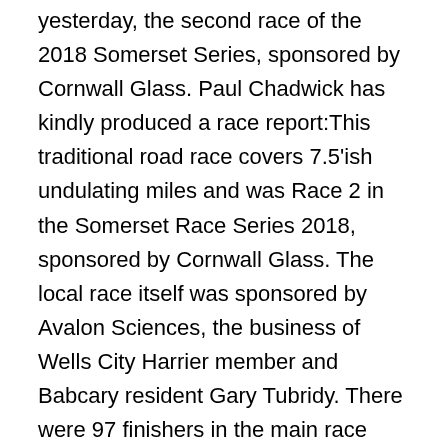yesterday, the second race of the 2018 Somerset Series, sponsored by Cornwall Glass. Paul Chadwick has kindly produced a race report:This traditional road race covers 7.5'ish undulating miles and was Race 2 in the Somerset Race Series 2018, sponsored by Cornwall Glass. The local race itself was sponsored by Avalon Sciences, the business of Wells City Harrier member and Babcary resident Gary Tubridy. There were 97 finishers in the main race with a handful of juniors in the shorter races. Isabelle Walker won the short road race. Christina green (Wells City Harrier) ran the race for the first time and came away with a sweeping victory.Despite the cold and blustery conditions, there was lovely sunshine, and for those who ran last year in fact the conditions were somewhat better this year. Chris Green's winning time of 43.28 was a good return, with 2nd place Oli Frost (Wells City Harrier) leading 46.06 and Chris Wall...